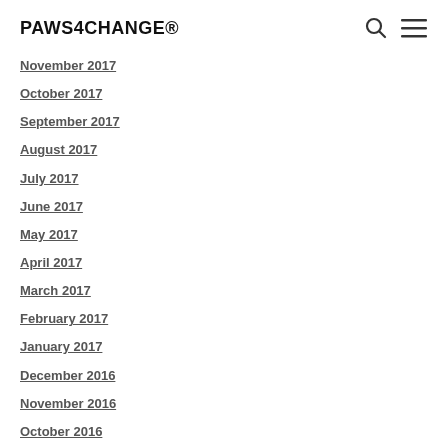PAWS4CHANGE®
November 2017
October 2017
September 2017
August 2017
July 2017
June 2017
May 2017
April 2017
March 2017
February 2017
January 2017
December 2016
November 2016
October 2016
September 2016